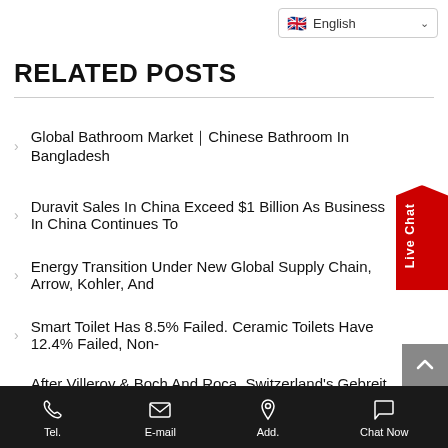English
RELATED POSTS
Global Bathroom Market｜Chinese Bathroom In Bangladesh
Duravit Sales In China Exceed $1 Billion As Business In China Continues To
Energy Transition Under New Global Supply Chain, Arrow, Kohler, And
Smart Toilet Has 8.5% Failed. Ceramic Toilets Have 12.4% Failed, Non-
After Villeroy & Boch And Roca, Switzerland's Gebreit Also Announces
Saint-Gobain Sells Polish Bathroom Distribution Brand Tadmar
Investment And Financing | A Number Of Mergers And Acquisitions Involving
Huida Bathroom Released Its ESG Report For 2021
After The Voluntary Retirement System, Panasonic And Other Jap…
Tel.  E-mail  Add.  Chat Now